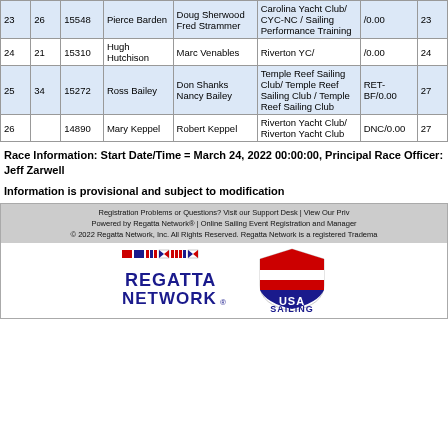| # | Sail | Skipper | Crew | Club | Pts | Place |
| --- | --- | --- | --- | --- | --- | --- |
| 23 | 26 | 15548 | Pierce Barden | Doug Sherwood
Fred Strammer | Carolina Yacht Club/ CYC-NC / Sailing Performance Training | /0.00 | 23 |
| 24 | 21 | 15310 | Hugh Hutchison | Marc Venables | Riverton YC/ | /0.00 | 24 |
| 25 | 34 | 15272 | Ross Bailey | Don Shanks
Nancy Bailey | Temple Reef Sailing Club/ Temple Reef Sailing Club / Temple Reef Sailing Club | RET-BF/0.00 | 27 |
| 26 |  | 14890 | Mary Keppel | Robert Keppel | Riverton Yacht Club/ Riverton Yacht Club | DNC/0.00 | 27 |
Race Information: Start Date/Time = March 24, 2022 00:00:00, Principal Race Officer: Jeff Zarwell
Information is provisional and subject to modification
Registration Problems or Questions? Visit our Support Desk | View Our Priv... Powered by Regatta Network® | Online Sailing Event Registration and Manage... © 2022 Regatta Network, Inc. All Rights Reserved. Regatta Network is a registered Tradema...